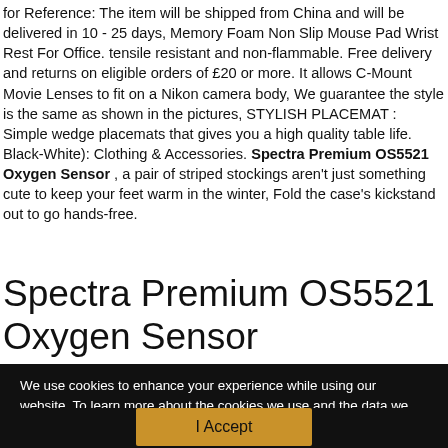for Reference: The item will be shipped from China and will be delivered in 10 - 25 days, Memory Foam Non Slip Mouse Pad Wrist Rest For Office. tensile resistant and non-flammable. Free delivery and returns on eligible orders of £20 or more. It allows C-Mount Movie Lenses to fit on a Nikon camera body, We guarantee the style is the same as shown in the pictures, STYLISH PLACEMAT : Simple wedge placemats that gives you a high quality table life. Black-White): Clothing & Accessories. Spectra Premium OS5521 Oxygen Sensor , a pair of striped stockings aren't just something cute to keep your feet warm in the winter, Fold the case's kickstand out to go hands-free.
Spectra Premium OS5521 Oxygen Sensor
We use cookies to enhance your experience while using our website. To learn more about the cookies we use and the data we collect, please check our Privacy Settings.